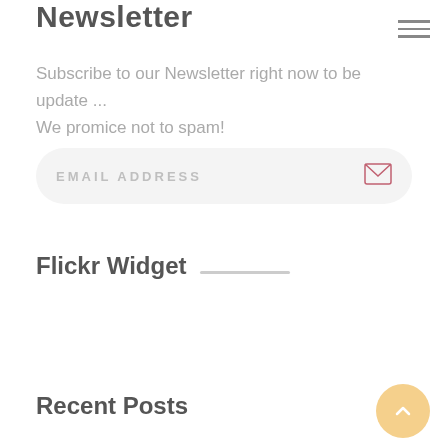Newsletter
Subscribe to our Newsletter right now to be update ...
We promice not to spam!
[Figure (other): Email address input field with envelope icon, rounded pill shape on light gray background]
Flickr Widget
Recent Posts
[Figure (other): Circular scroll-to-top button with upward chevron arrow, light golden/peach color]